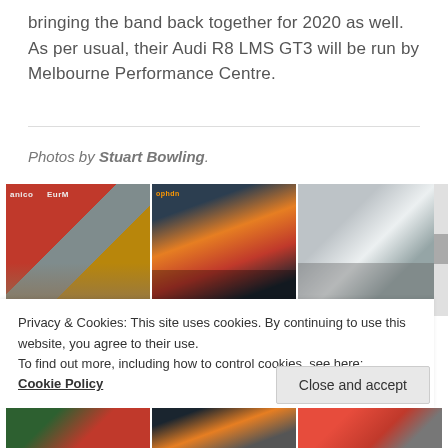bringing the band back together for 2020 as well. As per usual, their Audi R8 LMS GT3 will be run by Melbourne Performance Centre.
Photos by Stuart Bowling.
[Figure (photo): Three racing car photos in a horizontal grid: left shows a red Ferrari on track with advertising banners visible, center shows an orange/red GT3 car on a mountain circuit, right shows a white car in motion with blurred background.]
Privacy & Cookies: This site uses cookies. By continuing to use this website, you agree to their use.
To find out more, including how to control cookies, see here:
Cookie Policy
Close and accept
[Figure (photo): Bottom row of racing car photos partially visible.]